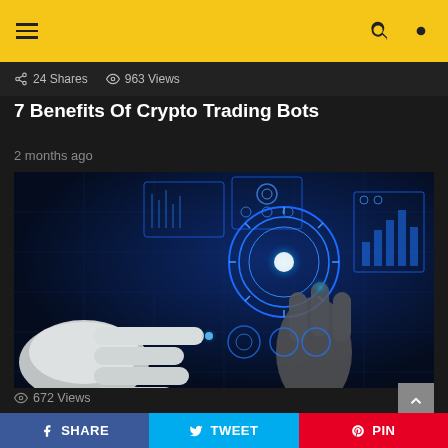Navigation bar with hamburger menu, search, and theme toggle
24 Shares  963 Views
7 Benefits Of Crypto Trading Bots
2 months ago
[Figure (photo): Robot hand and human hand touching futuristic glowing holographic interface with charts and circular UI elements on dark blue background]
672 Views
SHARE  TWEET  PIN